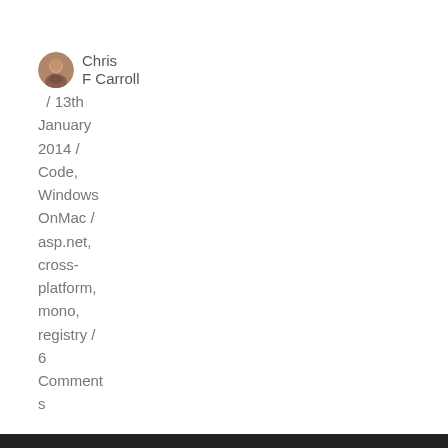Chris F Carroll / 13th January 2014 / Code, Windows OnMac / asp.net, cross-platform, mono, registry / 6 Comments